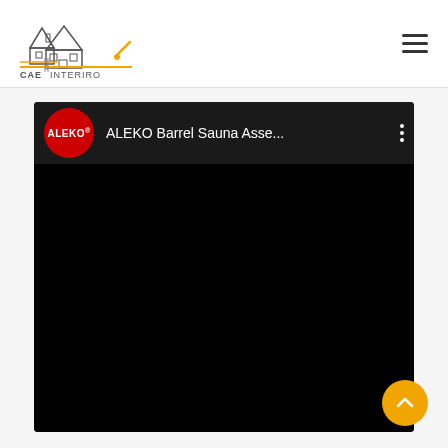[Figure (logo): CAE Interiro home improvement logo with house silhouette and tools]
[Figure (screenshot): YouTube video embed showing ALEKO Barrel Sauna Asse... video with red ALEKO logo circle and black video body]
[Figure (other): Orange circular scroll-to-top button with upward chevron arrow]